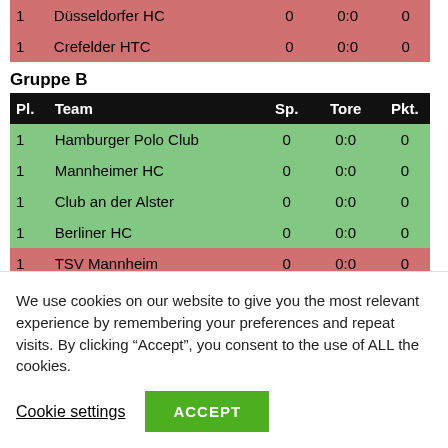| 1 | Düsseldorfer HC | 0 | 0:0 | 0 |
| 1 | Crefelder HTC | 0 | 0:0 | 0 |
Gruppe B
| Pl. | Team | Sp. | Tore | Pkt. |
| --- | --- | --- | --- | --- |
| 1 | Hamburger Polo Club | 0 | 0:0 | 0 |
| 1 | Mannheimer HC | 0 | 0:0 | 0 |
| 1 | Club an der Alster | 0 | 0:0 | 0 |
| 1 | Berliner HC | 0 | 0:0 | 0 |
| 1 | TSV Mannheim | 0 | 0:0 | 0 |
| 1 | Münchner SC | 0 | 0:0 | 0 |
Spiele/Ergebnisse: 1. BL Herren
1. Bundesliga Damen
We use cookies on our website to give you the most relevant experience by remembering your preferences and repeat visits. By clicking “Accept”, you consent to the use of ALL the cookies.
Cookie settings
ACCEPT